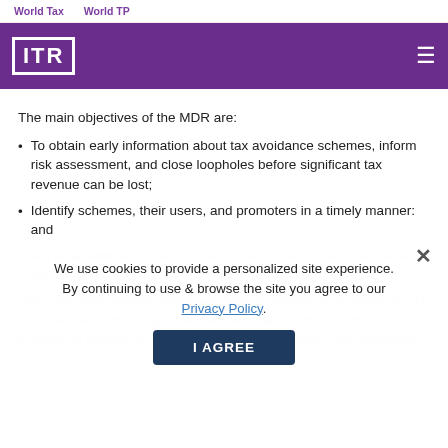World Tax    World TP
[Figure (logo): ITR logo in white on purple header bar with hamburger menu icon]
The main objectives of the MDR are:
To obtain early information about tax avoidance schemes, inform risk assessment, and close loopholes before significant tax revenue can be lost;
Identify schemes, their users, and promoters in a timely manner: and
Act as a deterrent to reduce the promotion and use of avoidable tax schemes.
Although, undoubtedly, MDRs will help to combat tax avoidance, EU member states must improve their national administrations and systems to ensure full and effective use of this tool in the European toolbox.
We use cookies to provide a personalized site experience. By continuing to use & browse the site you agree to our Privacy Policy.